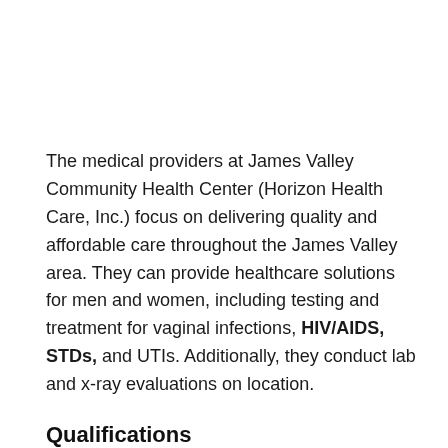The medical providers at James Valley Community Health Center (Horizon Health Care, Inc.) focus on delivering quality and affordable care throughout the James Valley area. They can provide healthcare solutions for men and women, including testing and treatment for vaginal infections, HIV/AIDS, STDs, and UTIs. Additionally, they conduct lab and x-ray evaluations on location.
Qualifications
The staff expects patients to have a picture ID, an insurance card, and payment for outstanding balances at each appointment. Uninsured individuals may be eligible for care through the use of sliding scale health fees based on income.